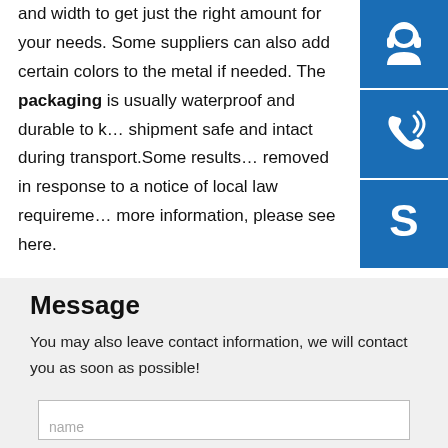and width to get just the right amount for your needs. Some suppliers can also add certain colors to the metal if needed. The packaging is usually waterproof and durable to keep the shipment safe and intact during transport.Some results have been removed in response to a notice of local law requirements. For more information, please see here.
[Figure (illustration): Three blue square icons: top is a customer support headset icon, middle is a phone/call icon, bottom is a Skype logo icon]
Message
You may also leave contact information, we will contact you as soon as possible!